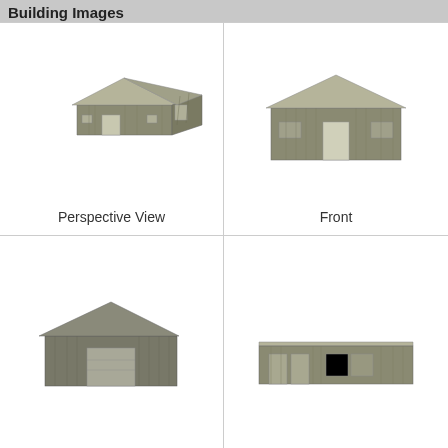Building Images
[Figure (illustration): 3D perspective view of a metal building/warehouse with gabled roof, shown in grey-green tones with doors visible on front and side]
Perspective View
[Figure (illustration): Front elevation view of a metal building/warehouse with gabled roof, centered door and two windows, grey-green tones]
Front
[Figure (illustration): Front elevation view of a metal building/warehouse with gabled roof and large centered garage/roll-up door, grey tones]
[Figure (illustration): Side elevation view of a metal building/warehouse, very wide and low profile, with multiple doors/windows, grey-green tones]